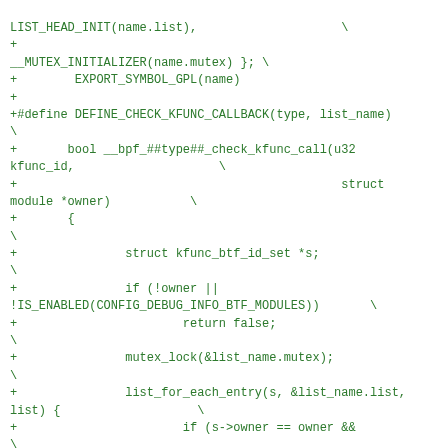LIST_HEAD_INIT(name.list),                    \
+
__MUTEX_INITIALIZER(name.mutex) }; \
+        EXPORT_SYMBOL_GPL(name)
+
+#define DEFINE_CHECK_KFUNC_CALLBACK(type, list_name)\
+       bool __bpf_##type##_check_kfunc_call(u32 kfunc_id,           \
+                                             struct module *owner)            \
+       {                                                              \
+               struct kfunc_btf_id_set *s;                            \
+               if (!owner ||                                           \
!IS_ENABLED(CONFIG_DEBUG_INFO_BTF_MODULES))       \
+                       return false;                                   \
+               mutex_lock(&list_name.mutex);                          \
+               list_for_each_entry(s, &list_name.list, list) {        \
+                       if (s->owner == owner &&                        \
+                               btf_id_set_contains(s->set, kfunc_id)) { \
+
mutex_unlock(&list_name.mutex);                              \
+                               return true;